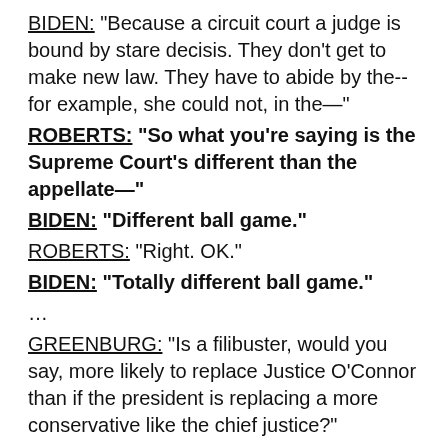BIDEN: “Because a circuit court a judge is bound by stare decisis. They don’t get to make new law. They have to abide by the--for example, she could not, in the—”
ROBERTS: “So what you’re saying is the Supreme Court’s different than the appellate—”
BIDEN: “Different ball game.”
ROBERTS: “Right. OK.”
BIDEN: “Totally different ball game.”
…
GREENBURG: “Is a filibuster, would you say, more likely to replace Justice O’Connor than if the president is replacing a more conservative like the chief justice?”
BIDEN: “Well, I--probably. But look, I don’t know anybody talking about a filibuster right now. All I